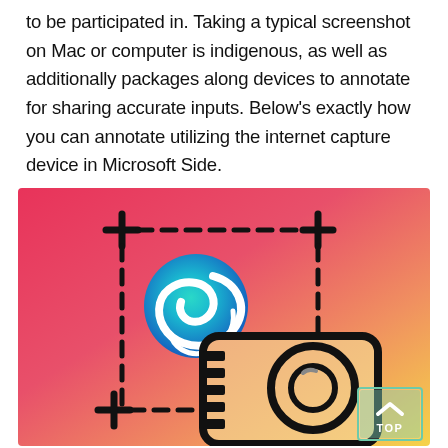to be participated in. Taking a typical screenshot on Mac or computer is indigenous, as well as additionally packages along devices to annotate for sharing accurate inputs. Below’s exactly how you can annotate utilizing the internet capture device in Microsoft Side.
[Figure (illustration): Colorful gradient background (pink to yellow-orange) featuring a dashed selection rectangle with crosshair corners, Microsoft Edge browser logo (blue-green swirl), a camera icon outline, and a teal 'TOP' navigation button in the bottom-right corner.]